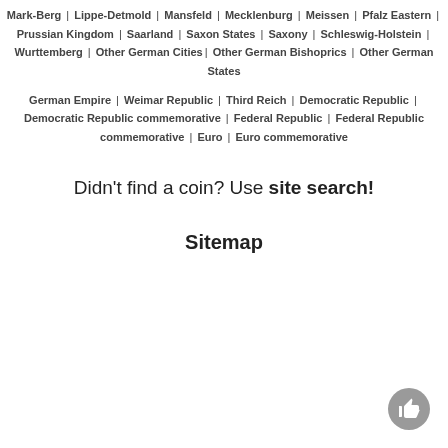Mark-Berg | Lippe-Detmold | Mansfeld | Mecklenburg | Meissen | Pfalz Eastern | Prussian Kingdom | Saarland | Saxon States | Saxony | Schleswig-Holstein | Wurttemberg | Other German Cities| Other German Bishoprics | Other German States
German Empire | Weimar Republic | Third Reich | Democratic Republic | Democratic Republic commemorative | Federal Republic | Federal Republic commemorative | Euro | Euro commemorative
Didn't find a coin? Use site search!
Sitemap